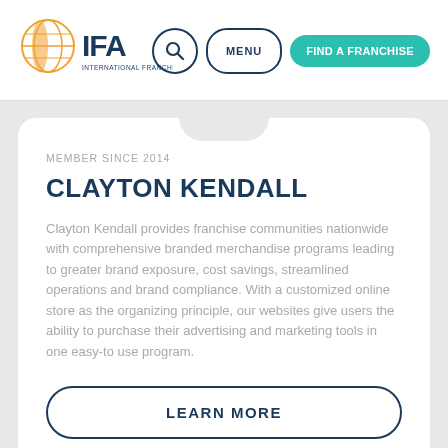[Figure (logo): IFA - International Franchise Association logo with globe icon in orange/gold and blue text]
[Figure (infographic): Navigation bar with search circle, MENU pill button, and FIND A FRANCHISE teal button]
MEMBER SINCE 2014
CLAYTON KENDALL
Clayton Kendall provides franchise communities nationwide with comprehensive branded merchandise programs leading to greater brand exposure, cost savings, streamlined operations and brand compliance. With a customized online store as the organizing principle, our websites give users the ability to purchase their advertising and marketing tools in one easy-to use program.
LEARN MORE